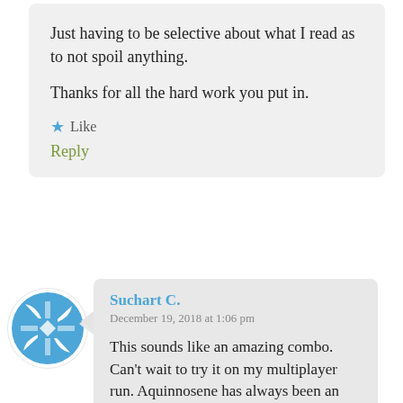Just having to be selective about what I read as to not spoil anything.

Thanks for all the hard work you put in.
★ Like
Reply
[Figure (logo): Circular avatar with blue geometric windmill/pinwheel icon logo for user Suchart C.]
Suchart C.
December 19, 2018 at 1:06 pm

This sounds like an amazing combo. Can't wait to try it on my multiplayer run. Aquinnosene has always been an interesting